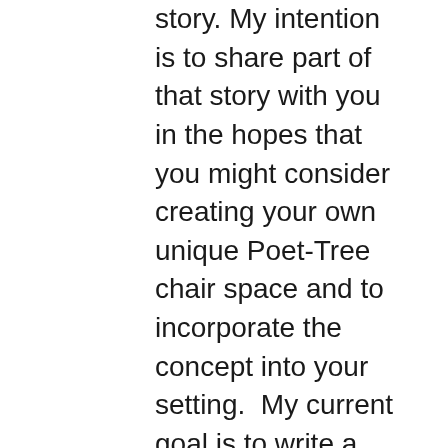story. My intention is to share part of that story with you in the hopes that you might consider creating your own unique Poet-Tree chair space and to incorporate the concept into your setting.  My current goal is to write a small book describing my experience and I am looking to include how the concept I've developed can be adapted.
Here is some background as to how this poetry project came to be. A few years ago, I began carrying a small notebook and pencil in my pocket when I hiked in the woods. I started writing short poems and observations about the moments I was encountering. The more I wrote, the more I began to to think about all the people who walked along the same trails and wondered what they had observed, what their experience had been. What if hikers were